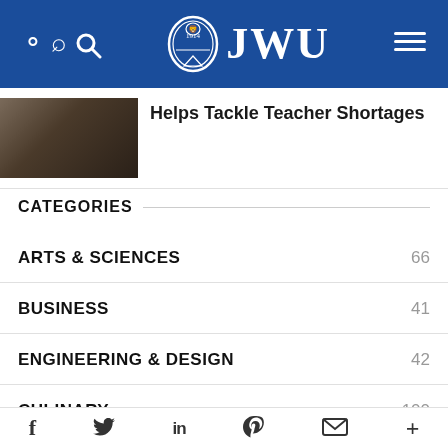JWU
[Figure (photo): Thumbnail photo of a classroom or educational setting with students]
Helps Tackle Teacher Shortages
CATEGORIES
ARTS & SCIENCES 66
BUSINESS 41
ENGINEERING & DESIGN 42
CULINARY 100
f  Twitter  in  Pinterest  Mail  +